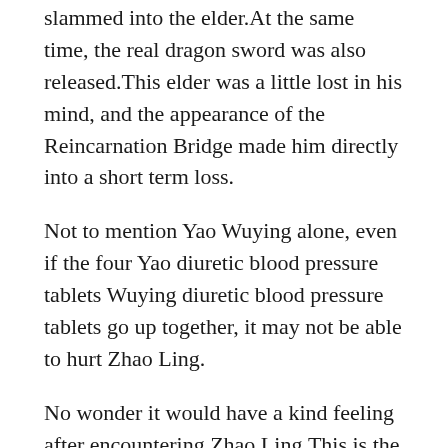slammed into the elder.At the same time, the real dragon sword was also released.This elder was a little lost in his mind, and the appearance of the Reincarnation Bridge made him directly into a short term loss.
Not to mention Yao Wuying alone, even if the four Yao diuretic blood pressure tablets Wuying diuretic blood pressure tablets go up together, it may not be able to hurt Zhao Ling.
No wonder it would have a kind feeling after encountering Zhao Ling.This is the image of the holy dragon body in Zhao Ling is body when he stimulates the fighting state.
But it is just right for the little swallowing beast.Therefore, Zhao Ling looked at the eyes of this group of geniuses with a smirk.The next moment, I saw Zhao Ling let out the little swallowing beast, pointed to Luo Shi and asked the little swallowing beast What do you think of him The little swallowing beast is injuries have obviously recovered